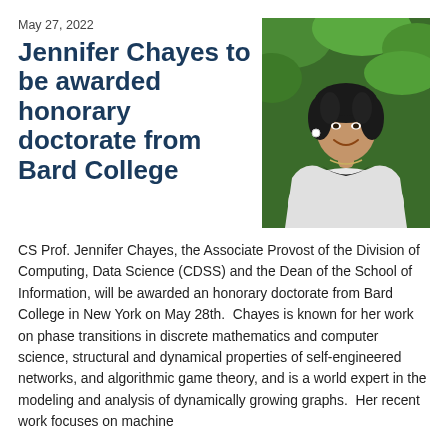May 27, 2022
Jennifer Chayes to be awarded honorary doctorate from Bard College
[Figure (photo): Portrait photo of Jennifer Chayes, a woman with dark curly hair, smiling, wearing a white jacket over a dark top, photographed outdoors against a green leafy background.]
CS Prof. Jennifer Chayes, the Associate Provost of the Division of Computing, Data Science (CDSS) and the Dean of the School of Information, will be awarded an honorary doctorate from Bard College in New York on May 28th.  Chayes is known for her work on phase transitions in discrete mathematics and computer science, structural and dynamical properties of self-engineered networks, and algorithmic game theory, and is a world expert in the modeling and analysis of dynamically growing graphs.  Her recent work focuses on machine